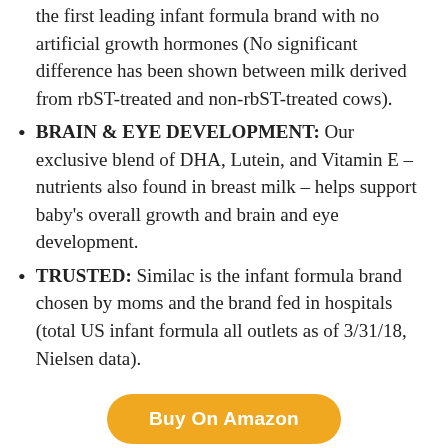the first leading infant formula brand with no artificial growth hormones (No significant difference has been shown between milk derived from rbST-treated and non-rbST-treated cows).
BRAIN & EYE DEVELOPMENT: Our exclusive blend of DHA, Lutein, and Vitamin E – nutrients also found in breast milk – helps support baby's overall growth and brain and eye development.
TRUSTED: Similac is the infant formula brand chosen by moms and the brand fed in hospitals (total US infant formula all outlets as of 3/31/18, Nielsen data).
Buy On Amazon